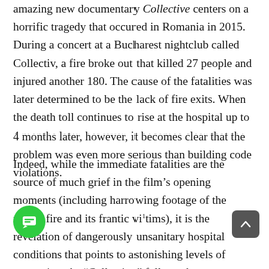amazing new documentary Collective centers on a horrific tragedy that occured in Romania in 2015. During a concert at a Bucharest nightclub called Collectiv, a fire broke out that killed 27 people and injured another 180. The cause of the fatalities was later determined to be the lack of fire exits. When the death toll continues to rise at the hospital up to 4 months later, however, it becomes clear that the problem was even more serious than building code violations.
Indeed, while the immediate fatalities are the source of much grief in the film's opening moments (including harrowing footage of the raging fire and its frantic victims¹), it is the revelation of dangerously unsanitary hospital conditions that points to astonishing levels of corruption. As “Collective” follows the investigation, the